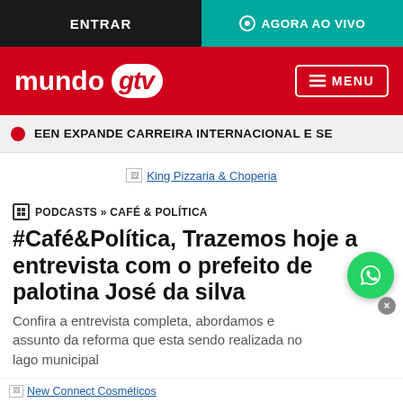ENTRAR | AGORA AO VIVO
[Figure (logo): Mundo GTV logo on red background with MENU button]
EEN EXPANDE CARREIRA INTERNACIONAL E SE
[Figure (other): Broken image placeholder: King Pizzaria & Choperia]
PODCASTS » CAFÉ & POLÍTICA
#Café&Política, Trazemos hoje a entrevista com o prefeito de palotina José da silva
Confira a entrevista completa, abordamos e assunto da reforma que esta sendo realizada no lago municipal
[Figure (other): Broken image placeholder: New Connect Cosméticos (bottom ad)]